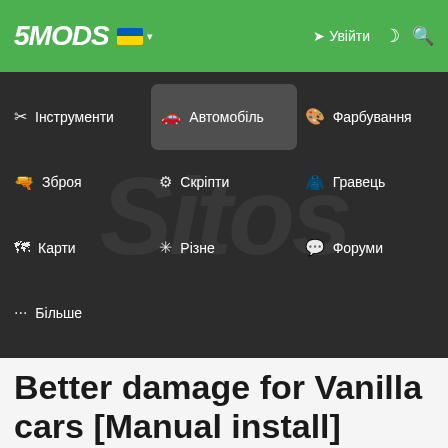5MODS | Увійти
[Figure (screenshot): 5MODS website navigation menu with Ukrainian flag. Menu items: Інструменти, Автомобіль (highlighted), Фарбування, Зброя, Скріпти, Гравець, Карти, Різне, Форуми, Більше. Dark background with faint italic watermark text.]
Better damage for Vanilla cars [Manual install] Alpha